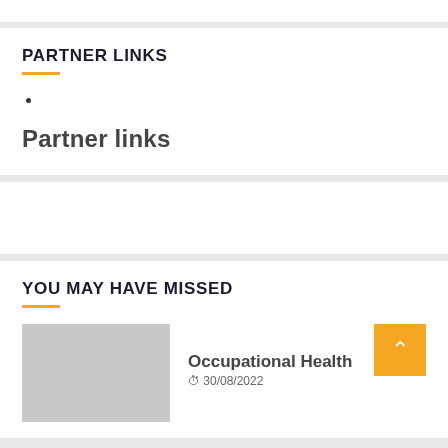PARTNER LINKS
Partner links
YOU MAY HAVE MISSED
[Figure (photo): Thumbnail image placeholder (gray rectangle)]
Occupational Health
30/08/2022